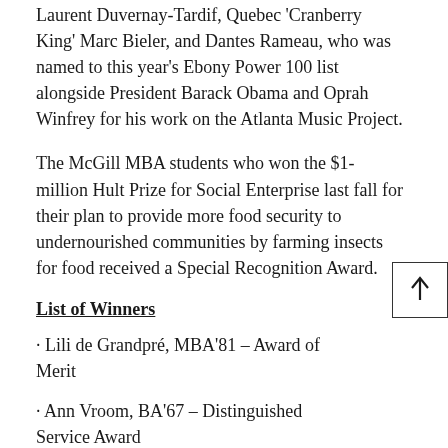Laurent Duvernay-Tardif, Quebec 'Cranberry King' Marc Bieler, and Dantes Rameau, who was named to this year's Ebony Power 100 list alongside President Barack Obama and Oprah Winfrey for his work on the Atlanta Music Project.
The McGill MBA students who won the $1-million Hult Prize for Social Enterprise last fall for their plan to provide more food security to undernourished communities by farming insects for food received a Special Recognition Award.
List of Winners
· Lili de Grandpré, MBA'81 – Award of Merit
· Ann Vroom, BA'67 – Distinguished Service Award
· Marc Bieler, DipAgr'58, BA'64, and Marie Bieler, BSc(Agr)'80 – Distinguished Service Award
· Jacques Bougie, LLD'10 – E.P. Taylor Award
· Dantes Rameau, BMus'05 – James G. Wright Award (To read